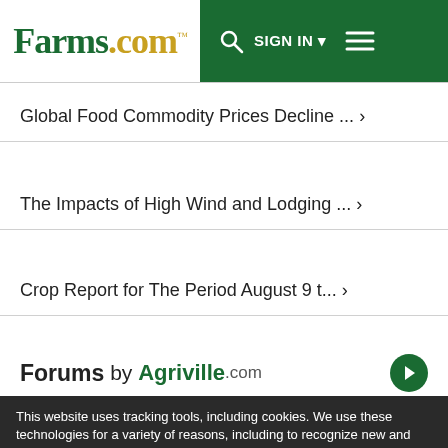Farms.com™ — SIGN IN — Menu
Global Food Commodity Prices Decline ... ›
The Impacts of High Wind and Lodging ... ›
Crop Report for The Period August 9 t... ›
Forums by Agriville.com ›
This website uses tracking tools, including cookies. We use these technologies for a variety of reasons, including to recognize new and past website users, to customize your experience, perform analytics and deliver personalized advertising on our sites, apps and newsletters and across the Internet based on your interests. You agree to our Privacy Policy and Terms of Access by clicking I agree.